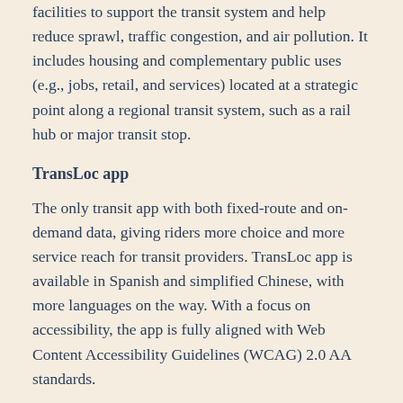facilities to support the transit system and help reduce sprawl, traffic congestion, and air pollution. It includes housing and complementary public uses (e.g., jobs, retail, and services) located at a strategic point along a regional transit system, such as a rail hub or major transit stop.
TransLoc app
The only transit app with both fixed-route and on-demand data, giving riders more choice and more service reach for transit providers. TransLoc app is available in Spanish and simplified Chinese, with more languages on the way. With a focus on accessibility, the app is fully aligned with Web Content Accessibility Guidelines (WCAG) 2.0 AA standards.
transportation management area (TMA)
Designated by the United States Secretary of Transportation as urbanized areas with a population of at